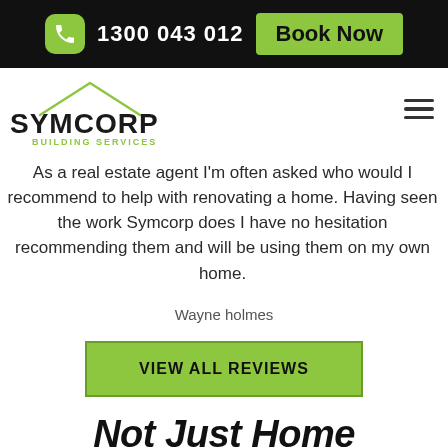1300 043 012  Book Now
[Figure (logo): Symcorp Building Services logo with roof outline graphic and green text]
As a real estate agent I'm often asked who would I recommend to help with renovating a home. Having seen the work Symcorp does I have no hesitation recommending them and will be using them on my own home.
Wayne holmes
VIEW ALL REVIEWS
Not Just Home